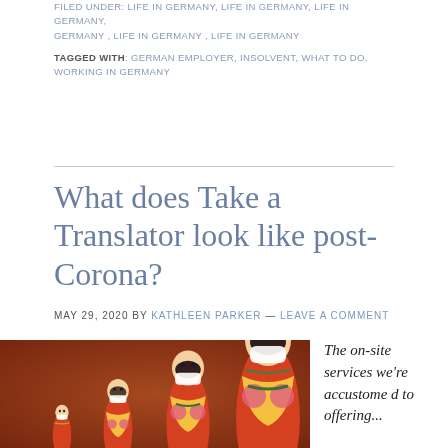FILED UNDER: LIFE IN GERMANY, LIFE IN GERMANY, LIFE IN GERMANY, LIFE IN GERMANY, LIFE IN GERMANY
TAGGED WITH: GERMAN EMPLOYER, INSOLVENT, WHAT TO DO, WORKING IN GERMANY
What does Take a Translator look like post-Corona?
MAY 29, 2020 BY KATHLEEN PARKER — LEAVE A COMMENT
[Figure (photo): Four Russian matryoshka nesting dolls of increasing size, each wearing a small white face mask, set against a blurred warm reddish-brown background.]
The on-site services we're accustomed to offering...